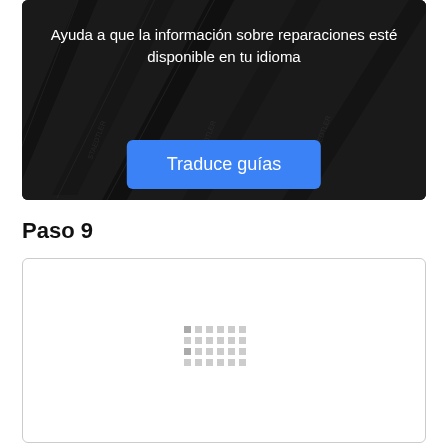[Figure (photo): Dark background photo of black pencils arranged diagonally with white overlay text and a blue button]
Ayuda a que la información sobre reparaciones esté disponible en tu idioma
Traduce guías
Paso 9
[Figure (other): White content box with a loading spinner/dots pattern in the center]